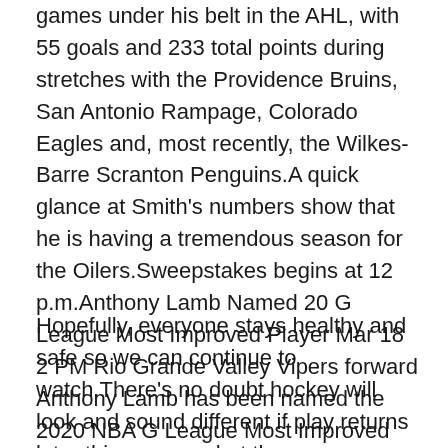games under his belt in the AHL, with 55 goals and 233 total points during stretches with the Providence Bruins, San Antonio Rampage, Colorado Eagles and, most recently, the Wilkes-Barre Scranton Penguins.A quick glance at Smith's numbers show that he is having a tremendous season for the Oilers.Sweepstakes begins at 12 p.m.Anthony Lamb Named 20 G League Most Improved Player Mar 18 2 PM Rio Grande Valley Vipers forward Anthony Lamb has been named the 2020 NBA G League Most Improved Player, the NBA G League announced today.
Hopefully, everyone stays healthy and safe so we can continue to watch.There's no doubt hockey will look and sound different if play returns later this summer, but there are ways for the sport to get close enough to the real thing to be less of a distraction for fans tuning in on their televisions for the first time in months.It was not a false colorblindness that led to this attitude, but custom men